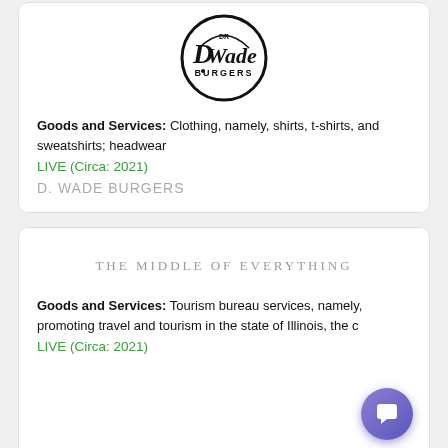[Figure (logo): D. Wade Burgers circular logo with script lettering]
Goods and Services: Clothing, namely, shirts, t-shirts, and sweatshirts; headwear
LIVE (Circa: 2021)
D. WADE BURGERS
[Figure (logo): THE MIDDLE OF EVERYTHING text logo in spaced serif lettering]
Goods and Services: Tourism bureau services, namely, promoting travel and tourism in the state of Illinois, the c
LIVE (Circa: 2021)
THE MIDDLE OF EVERYTHING